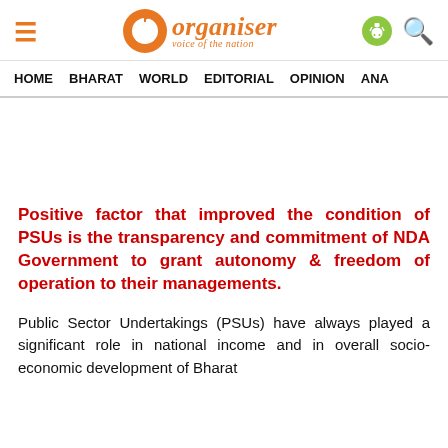[Figure (logo): Organiser magazine logo with orange O and tagline 'voice of the nation', hamburger menu icon and search/android icons]
HOME  BHARAT  WORLD  EDITORIAL  OPINION  ANA
Positive factor that improved the condition of PSUs is the transparency and commitment of NDA Government to grant autonomy & freedom of operation to their managements.
Public Sector Undertakings (PSUs) have always played a significant role in national income and in overall socio-economic development of Bharat